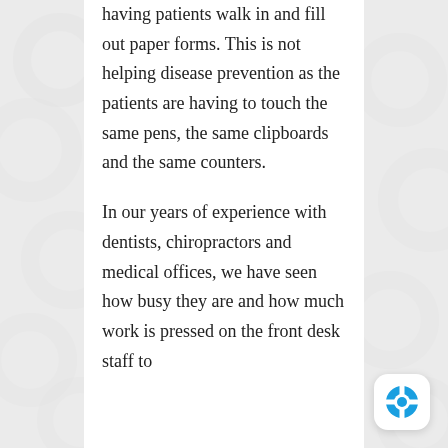having patients walk in and fill out paper forms. This is not helping disease prevention as the patients are having to touch the same pens, the same clipboards and the same counters.
In our years of experience with dentists, chiropractors and medical offices, we have seen how busy they are and how much work is pressed on the front desk staff to